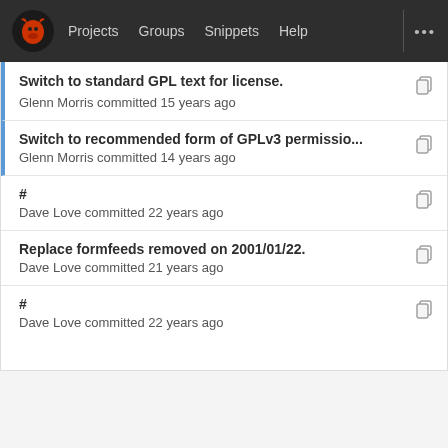Projects  Groups  Snippets  Help
Switch to standard GPL text for license.
Glenn Morris committed 15 years ago
Switch to recommended form of GPLv3 permissio...
Glenn Morris committed 14 years ago
#
Dave Love committed 22 years ago
Replace formfeeds removed on 2001/01/22.
Dave Love committed 21 years ago
#
Dave Love committed 22 years ago